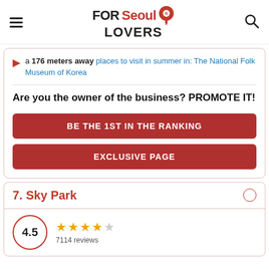FOR Seoul LOVERS (logo with navigation)
a 176 meters away places to visit in summer in: The National Folk Museum of Korea
Are you the owner of the business? PROMOTE IT!
BE THE 1ST IN THE RANKING
EXCLUSIVE PAGE
7. Sky Park
4.5 ★★★★☆ 7114 reviews